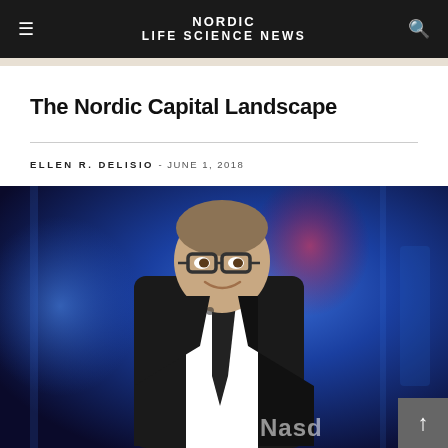NORDIC LIFE SCIENCE NEWS
The Nordic Capital Landscape
ELLEN R. DELISIO - JUNE 1, 2018
[Figure (photo): Man in a dark suit with glasses and a lapel microphone, smiling, standing in front of a blue-lit background with blurred NASDAQ-style signage.]